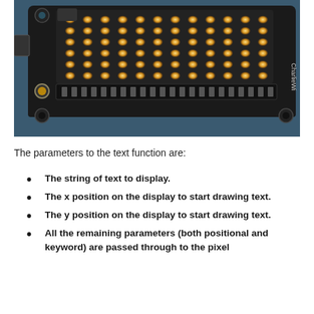[Figure (photo): Close-up photograph of a CharlieWing LED matrix circuit board with glowing amber/orange LEDs arranged in a grid pattern, mounted on a dark PCB with visible connectors and mounting holes.]
The parameters to the text function are:
The string of text to display.
The x position on the display to start drawing text.
The y position on the display to start drawing text.
All the remaining parameters (both positional and keyword) are passed through to the pixel